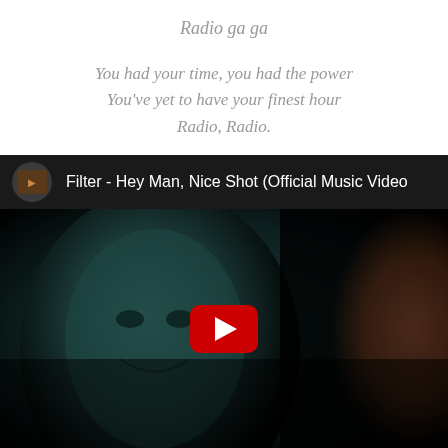Radio ga ga
You had your time, you had the power
You've yet to have your finest hour
Radio, Radio.
[Figure (screenshot): YouTube video embed showing 'Filter - Hey Man, Nice Shot (Official Music Video)' with a dark thumbnail featuring a masked figure and a red YouTube play button in the center]